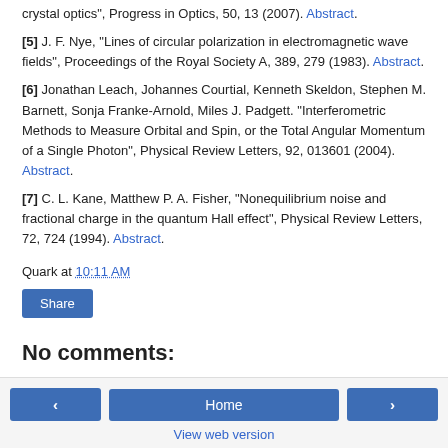[5] J. F. Nye, "Lines of circular polarization in electromagnetic wave fields", Proceedings of the Royal Society A, 389, 279 (1983). Abstract.
[6] Jonathan Leach, Johannes Courtial, Kenneth Skeldon, Stephen M. Barnett, Sonja Franke-Arnold, Miles J. Padgett. "Interferometric Methods to Measure Orbital and Spin, or the Total Angular Momentum of a Single Photon", Physical Review Letters, 92, 013601 (2004). Abstract.
[7] C. L. Kane, Matthew P. A. Fisher, "Nonequilibrium noise and fractional charge in the quantum Hall effect", Physical Review Letters, 72, 724 (1994). Abstract.
Quark at 10:11 AM
Share
No comments:
Post a Comment
< Home > View web version